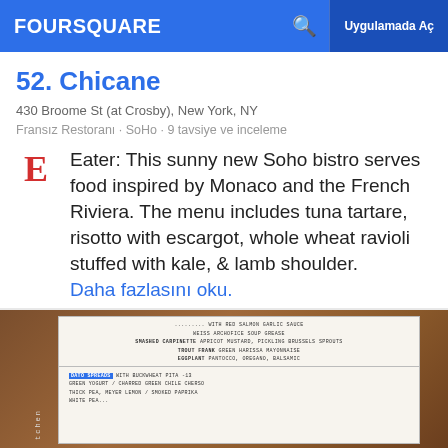FOURSQUARE | Uygulamada Aç
52. Chicane
430 Broome St (at Crosby), New York, NY
Fransız Restoranı · SoHo · 9 tavsiye ve inceleme
Eater: This sunny new Soho bistro serves food inspired by Monaco and the French Riviera. The menu includes tuna tartare, risotto with escargot, whole wheat ravioli stuffed with kale, & lamb shoulder. Daha fazlasını oku.
[Figure (photo): Photo of a restaurant menu on a wooden table, showing handwritten menu items in small print]